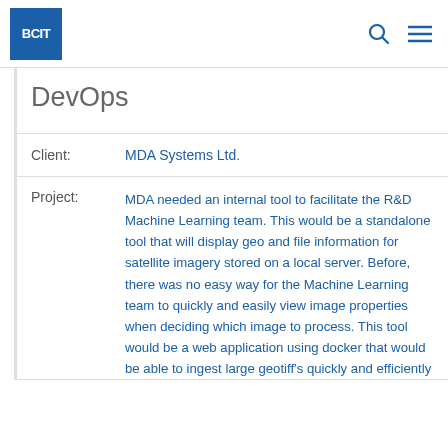BCIT
DevOps
| Client: | MDA Systems Ltd. |
| Project: | MDA needed an internal tool to facilitate the R&D Machine Learning team. This would be a standalone tool that will display geo and file information for satellite imagery stored on a local server. Before, there was no easy way for the Machine Learning team to quickly and easily view image properties when deciding which image to process. This tool would be a web application using docker that would be able to ingest large geotiff's quickly and efficiently |